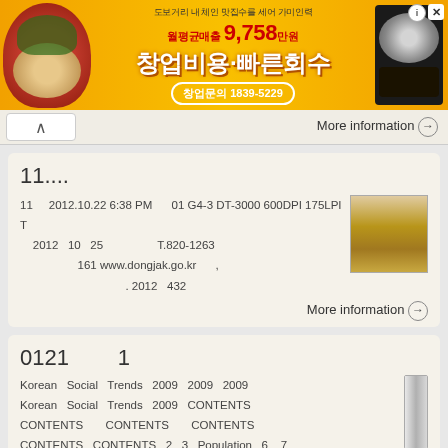[Figure (other): Korean food franchise banner advertisement with yellow/orange background, food images, Korean text 창업비용·빠른회수, phone number 1839-5229, monthly average sales 9,758만원]
More information →
11....
11      2012.10.22 6:38 PM      01 G4-3 DT-3000 600DPI 175LPI T
    2012   10   25                       T.820-1263
                        161  www.dongjak.go.kr        ,
                                             . 2012   432
More information →
0121          1
Korean  Social  Trends  2009  2009  2009
Korean  Social  Trends  2009  CONTENTS
CONTENTS        CONTENTS        CONTENTS
CONTENTS  CONTENTS  2  3  Population  6 _ 7
70 60 50 40 30 20 10 0 10 1010 1020 1030 1040 1050